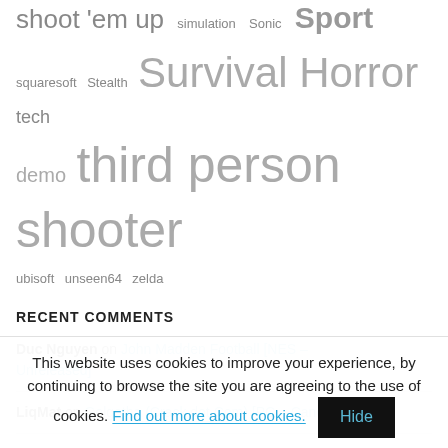shoot 'em up  simulation  Sonic  Sport  squaresoft  Stealth  Survival Horror  tech  demo  third person shooter  ubisoft  unseen64  zelda
RECENT COMMENTS
Duc Nguyen on John Madden Football [NES – Unreleased]
LiqMat on Golgotha (Crack dot Com) [PC – Cancelled]
Todd_the_Toad on Golgotha (Crack dot Com) [PC – Cancelled]
IGОР on Golgotha (Crack dot Com) [PC – Cancelled]
This website uses cookies to improve your experience, by continuing to browse the site you are agreeing to the use of cookies. Find out more about cookies.